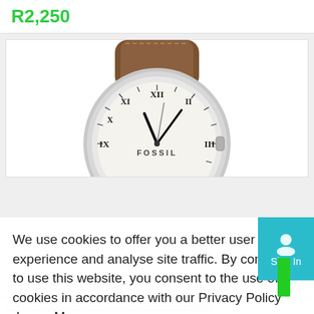R2,250
[Figure (photo): Close-up photo of a Fossil brand analog watch with white dial, Roman numerals, and brown leather strap. The watch face shows the brand name FOSSIL.]
We use cookies to offer you a better user experience and analyse site traffic. By continuing to use this website, you consent to the use of cookies in accordance with our Privacy Policy  Learn More
Got It
Sign In
Road